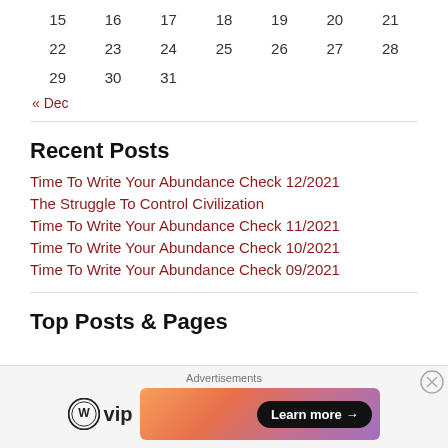| 15 | 16 | 17 | 18 | 19 | 20 | 21 |
| 22 | 23 | 24 | 25 | 26 | 27 | 28 |
| 29 | 30 | 31 |  |  |  |  |
« Dec
Recent Posts
Time To Write Your Abundance Check 12/2021
The Struggle To Control Civilization
Time To Write Your Abundance Check 11/2021
Time To Write Your Abundance Check 10/2021
Time To Write Your Abundance Check 09/2021
Top Posts & Pages
Advertisements
[Figure (other): WordPress VIP advertisement with Learn more button]